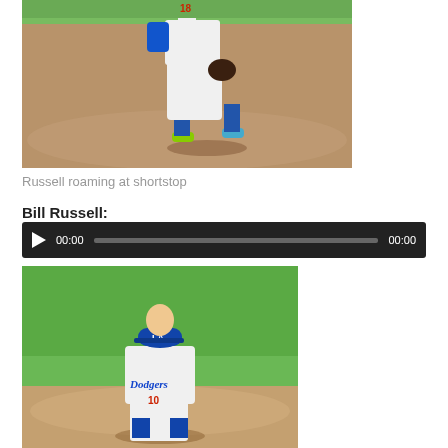[Figure (photo): Baseball player wearing jersey number 18 in white uniform with baseball glove, standing on a dirt infield at a baseball stadium]
Russell roaming at shortstop
Bill Russell:
[Figure (screenshot): Audio player widget with dark background, play button, time 00:00, progress bar, and end time 00:00]
[Figure (photo): Baseball player in Dodgers uniform number 10 wearing blue cap, standing on field with green grass background]